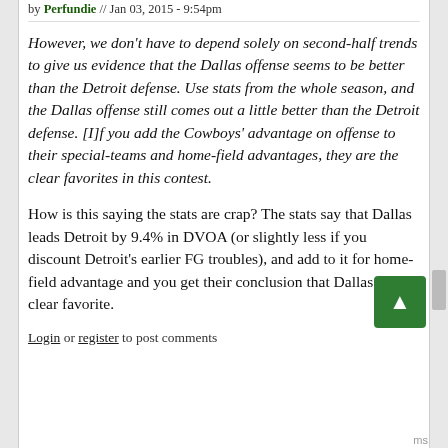by Perfundie // Jan 03, 2015 - 9:54pm
However, we don't have to depend solely on second-half trends to give us evidence that the Dallas offense seems to be better than the Detroit defense. Use stats from the whole season, and the Dallas offense still comes out a little better than the Detroit defense. [I]f you add the Cowboys' advantage on offense to their special-teams and home-field advantages, they are the clear favorites in this contest.
How is this saying the stats are crap? The stats say that Dallas leads Detroit by 9.4% in DVOA (or slightly less if you discount Detroit's earlier FG troubles), and add to it for home-field advantage and you get their conclusion that Dallas is the clear favorite.
Login or register to post comments